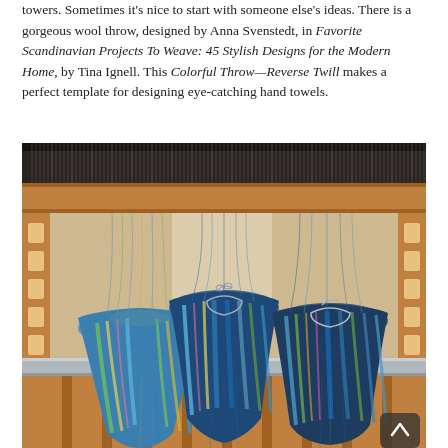towers. Sometimes it's nice to start with someone else's ideas. There is a gorgeous wool throw, designed by Anna Svenstedt, in Favorite Scandinavian Projects To Weave: 45 Stylish Designs for the Modern Home, by Tina Ignell. This Colorful Throw—Reverse Twill makes a perfect template for designing eye-catching hand towels.
[Figure (photo): A wooden floor loom with three skeins/hanks of multicolored yarn (blue, green, yellow, pink) hanging from the breast beam, with the loom's warp threads visible above.]